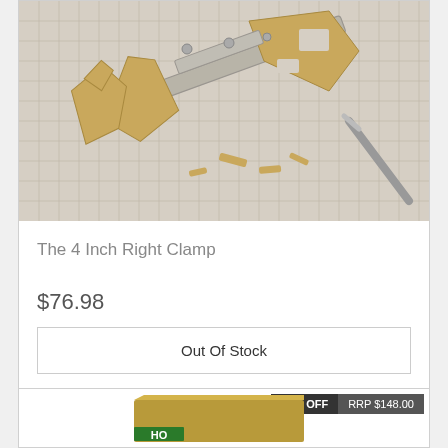[Figure (photo): Photo of a 4 Inch Right Clamp product — wooden and metal clamp pieces on a grid cutting mat with a craft knife]
The 4 Inch Right Clamp
$76.98
Out Of Stock
12% OFF
RRP $148.00
[Figure (photo): Partial photo of a product box (HO scale model railway or similar) with green and gold packaging, partially visible at the bottom of the page]